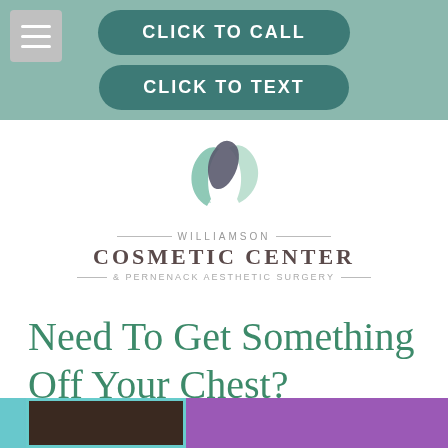[Figure (screenshot): Mobile website navigation header with teal/sage green background, hamburger menu icon, and two rounded dark teal call-to-action buttons: 'CLICK TO CALL' and 'CLICK TO TEXT']
[Figure (logo): Williamson Cosmetic Center & Pernenack Aesthetic Surgery logo with stylized leaf/face icon in green and grey tones]
Need To Get Something Off Your Chest?
[Figure (photo): Partial view of an image strip at the bottom of the page with a purple background and a small photo with teal border showing dark hair]